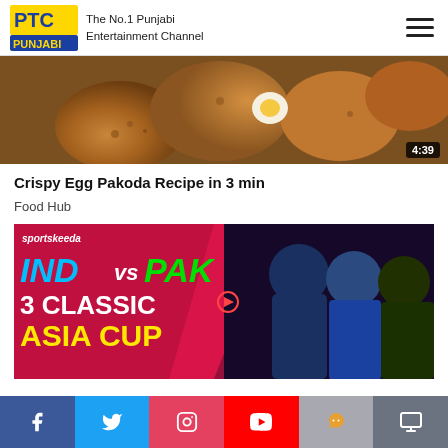PTC Punjabi — The No.1 Punjabi Entertainment Channel
[Figure (screenshot): Crispy egg pakoda food photo with duration badge 4:39]
Crispy Egg Pakoda Recipe in 3 min
Food Hub
[Figure (screenshot): Sportskeeda thumbnail: IND vs PAK 3 Classic Asia Cup, with cricket players]
Social media bar: Facebook, Twitter, Instagram, YouTube, Sharechat, TV